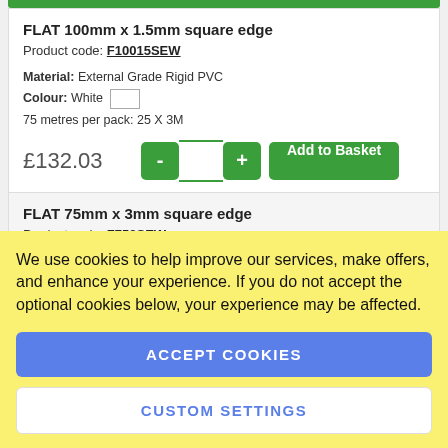FLAT 100mm x 1.5mm square edge
Product code: F10015SEW
Material: External Grade Rigid PVC
Colour: White
75 metres per pack: 25 X 3M
£132.03
FLAT 75mm x 3mm square edge
Product code: F753SEW
We use cookies to help improve our services, make offers, and enhance your experience. If you do not accept the optional cookies below, your experience may be affected.
ACCEPT COOKIES
CUSTOM SETTINGS